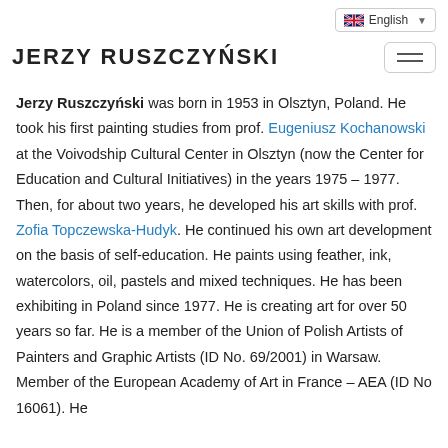English (language selector)
JERZY RUSZCZYŃSKI
Jerzy Ruszczyński was born in 1953 in Olsztyn, Poland. He took his first painting studies from prof. Eugeniusz Kochanowski at the Voivodship Cultural Center in Olsztyn (now the Center for Education and Cultural Initiatives) in the years 1975 – 1977. Then, for about two years, he developed his art skills with prof. Zofia Topczewska-Hudyk. He continued his own art development on the basis of self-education. He paints using feather, ink, watercolors, oil, pastels and mixed techniques. He has been exhibiting in Poland since 1977. He is creating art for over 50 years so far. He is a member of the Union of Polish Artists of Painters and Graphic Artists (ID No. 69/2001) in Warsaw. Member of the European Academy of Art in France – AEA (ID No 16061). He